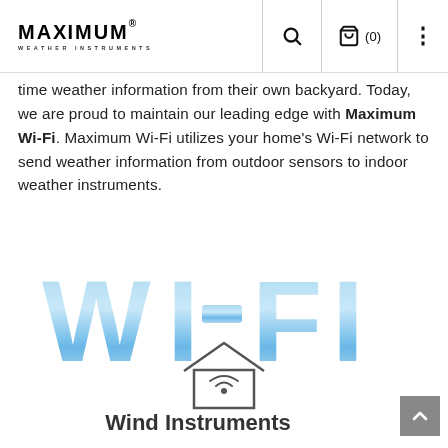MAXIMUM WEATHER INSTRUMENTS | Search | Cart (0) | Menu
time weather information from their own backyard. Today, we are proud to maintain our leading edge with Maximum Wi-Fi. Maximum Wi-Fi utilizes your home's Wi-Fi network to send weather information from outdoor sensors to indoor weather instruments.
[Figure (illustration): Large decorative text 'WI-FI' styled with a sky/cloud texture gradient in light blue, with a house wi-fi icon below the text]
Wind Instruments